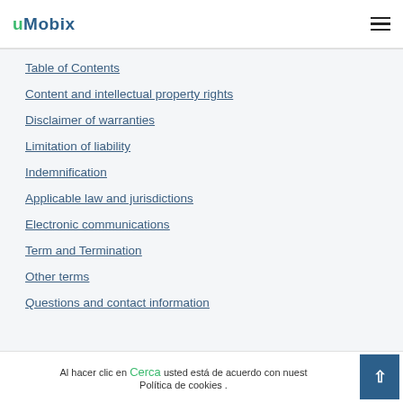uMobix
Table of Contents
Content and intellectual property rights
Disclaimer of warranties
Limitation of liability
Indemnification
Applicable law and jurisdictions
Electronic communications
Term and Termination
Other terms
Questions and contact information
Al hacer clic en Cerca usted está de acuerdo con nuest Política de cookies .